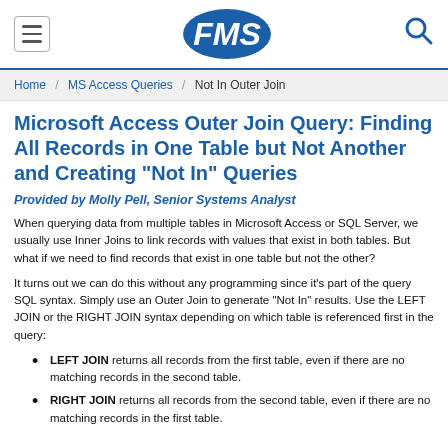FMS
Home / MS Access Queries / Not In Outer Join
Microsoft Access Outer Join Query: Finding All Records in One Table but Not Another and Creating "Not In" Queries
Provided by Molly Pell, Senior Systems Analyst
When querying data from multiple tables in Microsoft Access or SQL Server, we usually use Inner Joins to link records with values that exist in both tables. But what if we need to find records that exist in one table but not the other?
It turns out we can do this without any programming since it's part of the query SQL syntax. Simply use an Outer Join to generate "Not In" results. Use the LEFT JOIN or the RIGHT JOIN syntax depending on which table is referenced first in the query:
LEFT JOIN returns all records from the first table, even if there are no matching records in the second table.
RIGHT JOIN returns all records from the second table, even if there are no matching records in the first table.